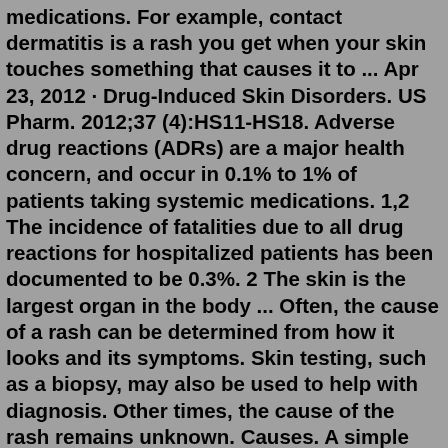medications. For example, contact dermatitis is a rash you get when your skin touches something that causes it to ... Apr 23, 2012 · Drug-Induced Skin Disorders. US Pharm. 2012;37 (4):HS11-HS18. Adverse drug reactions (ADRs) are a major health concern, and occur in 0.1% to 1% of patients taking systemic medications. 1,2 The incidence of fatalities due to all drug reactions for hospitalized patients has been documented to be 0.3%. 2 The skin is the largest organ in the body ... Often, the cause of a rash can be determined from how it looks and its symptoms. Skin testing, such as a biopsy, may also be used to help with diagnosis. Other times, the cause of the rash remains unknown. Causes. A simple rash is called dermatitis, meaning inflammation of the skin. Contact dermatitis is caused by things your skin touches, such as: Sep 07, 2021 · Rashes are very common. Many types of rash are mild and can be treated with OTC medications. For example, contact dermatitis is a rash you get when your skin touches